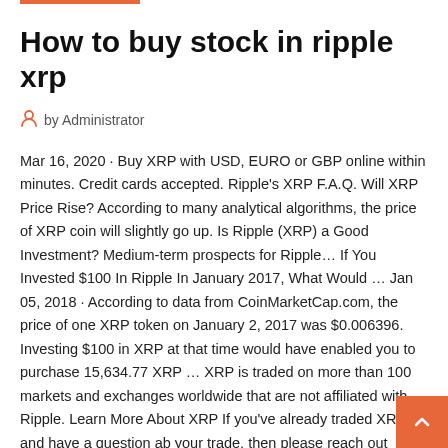How to buy stock in ripple xrp
by Administrator
Mar 16, 2020 · Buy XRP with USD, EURO or GBP online within minutes. Credit cards accepted. Ripple's XRP F.A.Q. Will XRP Price Rise? According to many analytical algorithms, the price of XRP coin will slightly go up. Is Ripple (XRP) a Good Investment? Medium-term prospects for Ripple… If You Invested $100 In Ripple In January 2017, What Would … Jan 05, 2018 · According to data from CoinMarketCap.com, the price of one XRP token on January 2, 2017 was $0.006396. Investing $100 in XRP at that time would have enabled you to purchase 15,634.77 XRP … XRP is traded on more than 100 markets and exchanges worldwide that are not affiliated with Ripple. Learn More About XRP If you've already traded XRP and have a question ab your trade, then please reach out directly to the exchang where you made the trade. ZMawa Pro: Buy Ripple (XRP)